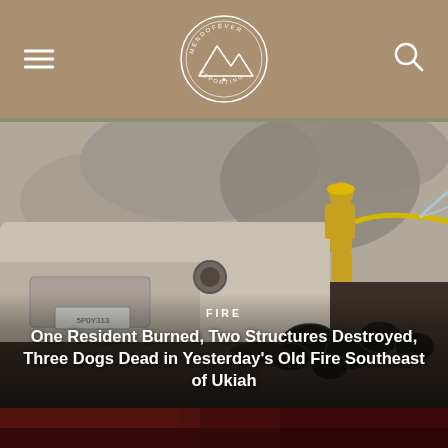MendoFever Reporting — navigation header with logo, hamburger menu, and search icon
[Figure (photo): A firefighter in yellow gear spraying water with a hose amid smoke and burned wreckage, including a destroyed vehicle with tires and debris. Scene depicts the aftermath of the Old Fire southeast of Ukiah.]
FIRE
One Resident Burned, Two Structures Destroyed, Three Dogs Dead in Yesterday's Old Fire Southeast of Ukiah
[Figure (photo): Partial view of a dark red/brown image at the bottom of the page, appears to be additional fire scene content cut off.]